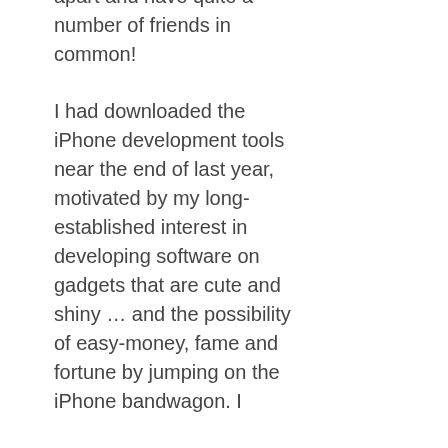apart and have quite a number of friends in common!
I had downloaded the iPhone development tools near the end of last year, motivated by my long-established interest in developing software on gadgets that are cute and shiny … and the possibility of easy-money, fame and fortune by jumping on the iPhone bandwagon. I